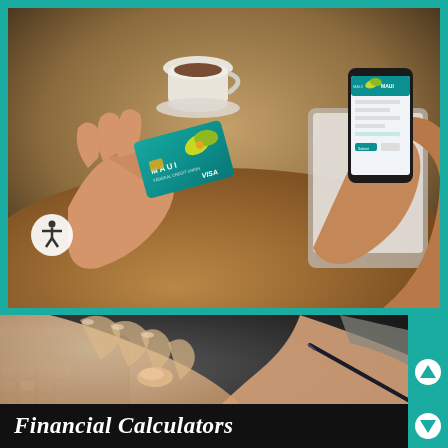[Figure (photo): Person holding a Maui Federal Credit Union teal VISA credit card in one hand and a smartphone displaying the Maui FCU mobile app in the other hand, seated at a café table with a coffee cup in the background. An accessibility (wheelchair) icon is overlaid in the lower-left of the image.]
[Figure (photo): Close-up of hands using a calculator, one hand pressing keys and another holding a pen, dark background, financial calculation context.]
Financial Calculators